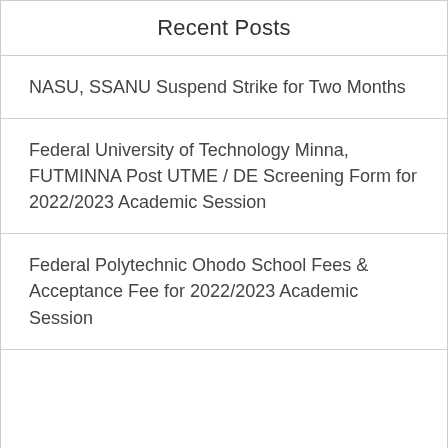Recent Posts
NASU, SSANU Suspend Strike for Two Months
Federal University of Technology Minna, FUTMINNA Post UTME / DE Screening Form for 2022/2023 Academic Session
Federal Polytechnic Ohodo School Fees & Acceptance Fee for 2022/2023 Academic Session